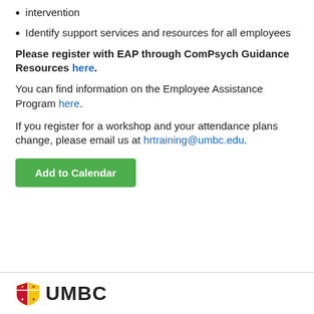intervention
Identify support services and resources for all employees
Please register with EAP through ComPsych Guidance Resources here.
You can find information on the Employee Assistance Program here.
If you register for a workshop and your attendance plans change, please email us at hrtraining@umbc.edu.
Add to Calendar
UMBC